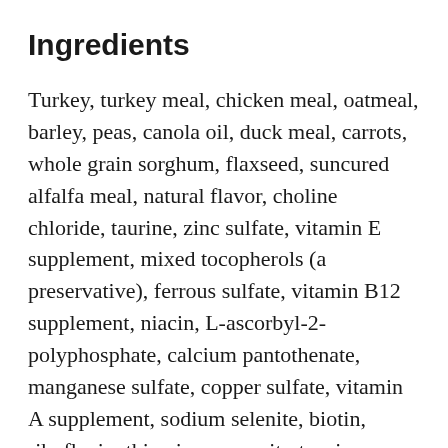Ingredients
Turkey, turkey meal, chicken meal, oatmeal, barley, peas, canola oil, duck meal, carrots, whole grain sorghum, flaxseed, suncured alfalfa meal, natural flavor, choline chloride, taurine, zinc sulfate, vitamin E supplement, mixed tocopherols (a preservative), ferrous sulfate, vitamin B12 supplement, niacin, L-ascorbyl-2-polyphosphate, calcium pantothenate, manganese sulfate, copper sulfate, vitamin A supplement, sodium selenite, biotin, riboflavin, thiamine mononitrate, zinc proteinate, dried lactobacillus acidophilus fermentation product, dried trichoderma longibrachiatum